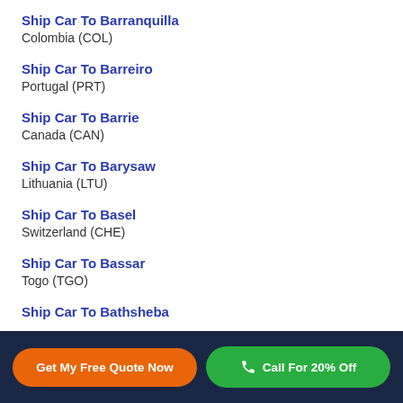Ship Car To Barranquilla
Colombia (COL)
Ship Car To Barreiro
Portugal (PRT)
Ship Car To Barrie
Canada (CAN)
Ship Car To Barysaw
Lithuania (LTU)
Ship Car To Basel
Switzerland (CHE)
Ship Car To Bassar
Togo (TGO)
Ship Car To Bathsheba
Get My Free Quote Now | Call For 20% Off